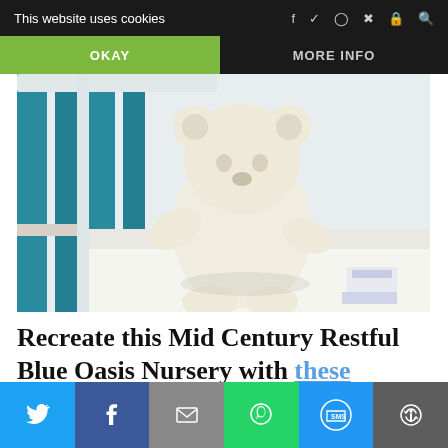This website uses cookies   OKAY   MORE INFO
[Figure (photo): A white teddy bear sitting in a white baby crib with teal/blue painted wooden slats, white bedding, and a small folded item in the corner. Mid-century nursery scene.]
Recreate this Mid Century Restful Blue Oasis Nursery with these beautiful pieces
[Figure (infographic): Social share bar with Twitter, Facebook, Email, WhatsApp, SMS, and More sharing buttons at the bottom of the page.]